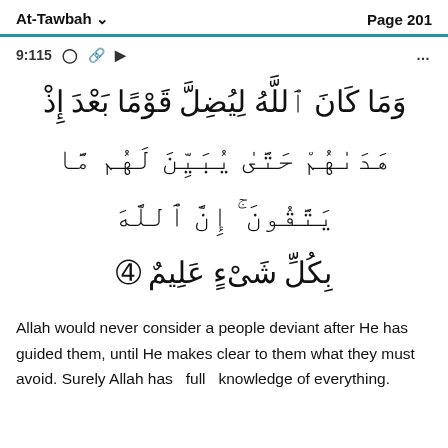At-Tawbah   Page 201
9:115
[Figure (other): Arabic Quranic verse 9:115 in large Arabic script with verse number 115 in decorative circle]
Allah would never consider a people deviant after He has guided them, until He makes clear to them what they must avoid. Surely Allah has   full   knowledge of everything.